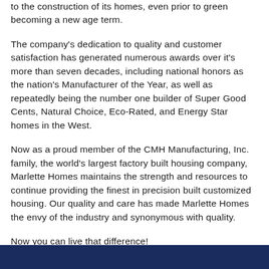to the construction of its homes, even prior to green becoming a new age term.
The company's dedication to quality and customer satisfaction has generated numerous awards over it's more than seven decades, including national honors as the nation's Manufacturer of the Year, as well as repeatedly being the number one builder of Super Good Cents, Natural Choice, Eco-Rated, and Energy Star homes in the West.
Now as a proud member of the CMH Manufacturing, Inc. family, the world's largest factory built housing company, Marlette Homes maintains the strength and resources to continue providing the finest in precision built customized housing. Our quality and care has made Marlette Homes the envy of the industry and synonymous with quality.
Now you can live that difference!